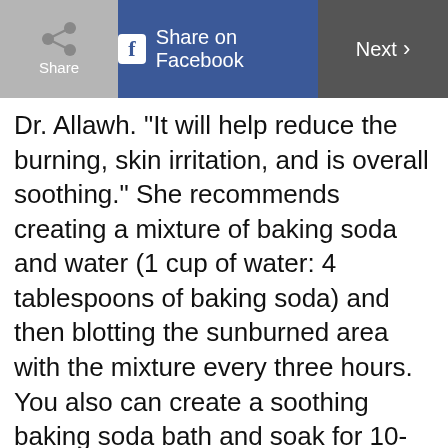Share | Share on Facebook | Next
Dr. Allawh. “It will help reduce the burning, skin irritation, and is overall soothing.” She recommends creating a mixture of baking soda and water (1 cup of water: 4 tablespoons of baking soda) and then blotting the sunburned area with the mixture every three hours. You also can create a soothing baking soda bath and soak for 10-15 minutes. After
Do you want our
Top stories of the day delivered to your inbox?
YES PLEASE!
NO THANKS